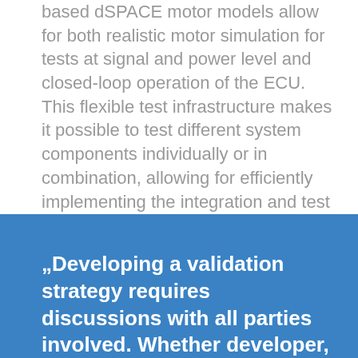based dSPACE motor models allow for both realistic motor simulation for tests at signal and power level and closed-loop operation of the ECU. This flexible test infrastructure makes it possible to test different system components individually or in combination, allowing for efficiently implementing the integration and test processes required by ISO 26262. ISO 26262 requires regular calibration of the test systems. For this purpose, dSPACE has written a project-specific calibration manual.
„Developing a validation strategy requires discussions with all parties involved. Whether developer, systems architect, safety engineer,